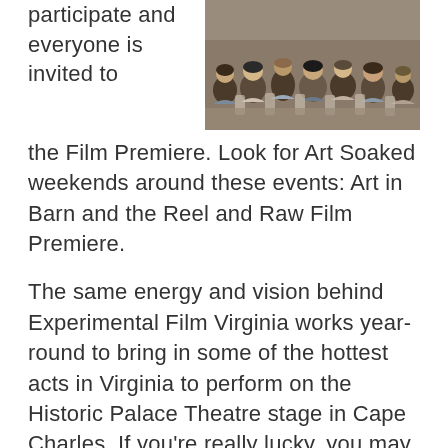participate and everyone is invited to the Film Premiere. Look for Art Soaked weekends around these events: Art in Barn and the Reel and Raw Film Premiere.
[Figure (photo): Audience members seated in outdoor chairs viewed from behind, attending an outdoor event or screening.]
The same energy and vision behind Experimental Film Virginia works year-round to bring in some of the hottest acts in Virginia to perform on the Historic Palace Theatre stage in Cape Charles. If you're really lucky, you may be able to get a ticket to a stupendous, dramatic, community production.
If theater is your thing, Free Shakespeare in the Park can be experienced in Exmore along